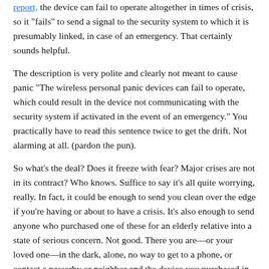report, the device can fail to operate altogether in times of crisis, so it "fails" to send a signal to the security system to which it is presumably linked, in case of an emergency. That certainly sounds helpful.
The description is very polite and clearly not meant to cause panic "The wireless personal panic devices can fail to operate, which could result in the device not communicating with the security system if activated in the event of an emergency." You practically have to read this sentence twice to get the drift. Not alarming at all. (pardon the pun).
So what's the deal? Does it freeze with fear? Major crises are not in its contract? Who knows. Suffice to say it's all quite worrying, really. In fact, it could be enough to send you clean over the edge if you're having or about to have a crisis. It's also enough to send anyone who purchased one of these for an elderly relative into a state of serious concern. Not good. There you are—or your loved one—in the dark, alone, no way to get to a phone, or contact a passerby or neighbor and the device you purchased in good faith to support you this time of crisis goes: "ah, NO, sorry—not my job." You can imagine, knowing how completely absorbing all this wearable technology is, that should this thing fail when you need it, you could become more obsessed by trying to get it to work than by the actual event that should have triggered its response.
Never mind the burglar, the chest pain, the mudslide, the 10 car pile-